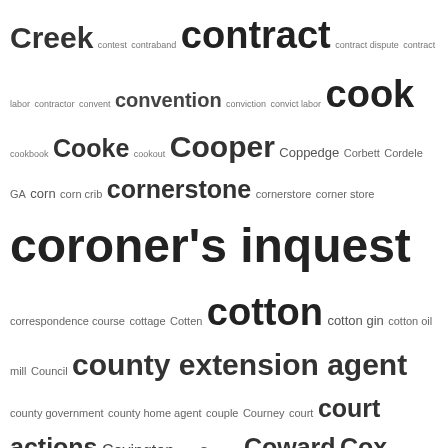[Figure (infographic): Tag cloud / word cloud showing index terms from a library or archive catalog. Terms vary in font size reflecting frequency/importance. Terms include: Creek, contest, contraband, contract, contract dispute, contract labor, contractor, convent, convention, conviction, convict labor, cook, cookbook, Cooke, cookout, Cooper, Coppedge, Corbett, Cordele GA, corn, corn crib, cornerstone, cornerstore, corner store, coroner's inquest, correspondence course, cottage, Cotten, cotton, cotton gin, cotton oil mill, Council, county extension agent, county government, county home agent, couple, Courney, court, court actions, Covington, cow, Cowan, Coward, Cox, Craddock, Crank, craps, Craven County, Craven County NC, Crawford, Creech, creek, crime, crime of passion, crimes against African-Americans, crimes against slaves, crimes against women, criminal court, criminal trial, criminal warrant, Crocker, Crockett, Croom, crop lien, Crossroads township, Cross Roads township, Crudup, Crutchfield, Cuba, cuckold, Culler, Cumberland County, Cumberland County NC, Cummings, curb market, currency, Curry, Curt Teich & Co., custody, dairy, dance, dancer, Dancy, Daniel, Daniel Hill, Daniels, Dantley, Darden, Darden; funeral home, Darden; funeral home; advertisement, Darden Alley, Darden Lane, database, David Cecelski, Davis, Dawes, Dawson]